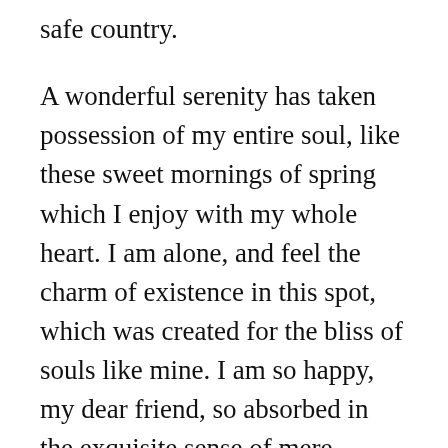safe country.
A wonderful serenity has taken possession of my entire soul, like these sweet mornings of spring which I enjoy with my whole heart. I am alone, and feel the charm of existence in this spot, which was created for the bliss of souls like mine. I am so happy, my dear friend, so absorbed in the exquisite sense of mere tranquil existence, that I neglect my talents.
But nothing the copy said could convince her and so it didn't take long until a few insidious Copy Writers ambushed her, made her drunk with Longe and Parole and dragged her into their agency, where they abused her for their